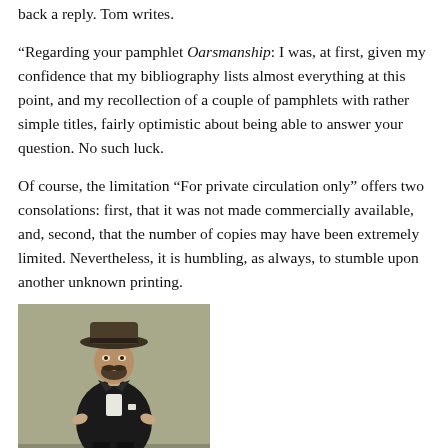back a reply. Tom writes.
“Regarding your pamphlet Oarsmanship: I was, at first, given my confidence that my bibliography lists almost everything at this point, and my recollection of a couple of pamphlets with rather simple titles, fairly optimistic about being able to answer your question. No such luck.
Of course, the limitation “For private circulation only” offers two consolations: first, that it was not made commercially available, and, second, that the number of copies may have been extremely limited. Nevertheless, it is humbling, as always, to stumble upon another unknown printing.
[Figure (illustration): Portrait illustration of a man wearing a wide-brimmed hat and dark formal coat, standing with hands on hips, rendered in a Victorian caricature or chromolithograph style against a grey-green background.]